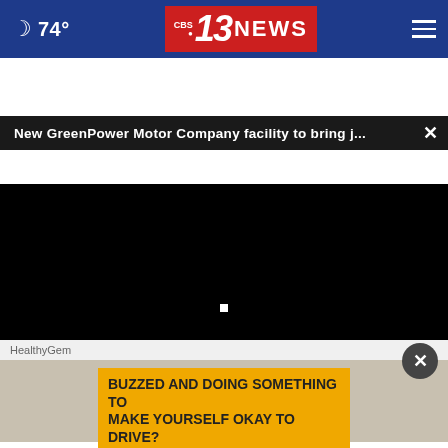🌙 74°  CBS 13 NEWS  ≡
New GreenPower Motor Company facility to bring j...  ×
[Figure (screenshot): Black video player area with a small white square indicator in center]
HealthyGem
[Figure (screenshot): Advertisement image with a yellow box overlay reading: BUZZED AND DOING SOMETHING TO MAKE YOURSELF OKAY TO DRIVE?]